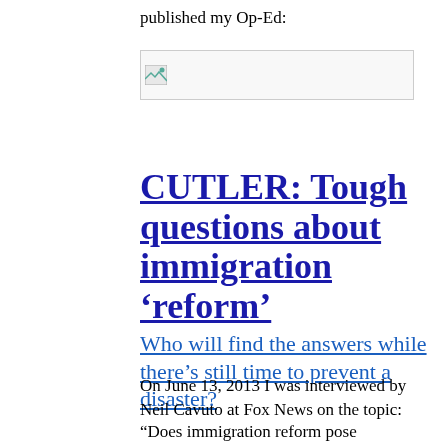published my Op-Ed:
[Figure (other): Broken/placeholder image icon in a bordered box]
CUTLER: Tough questions about immigration ‘reform’
Who will find the answers while there’s still time to prevent a disaster?
On June 13, 2013 I was interviewed by Neil Cavuto at Fox News on the topic:
“Does immigration reform pose